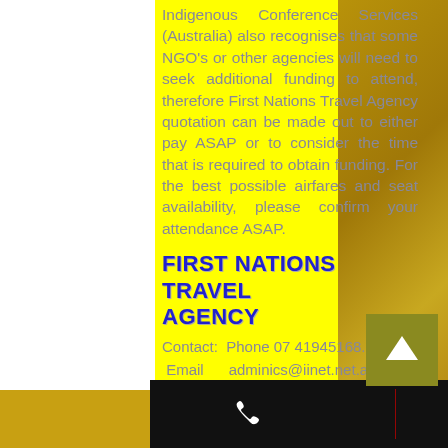Indigenous Conference Services (Australia) also recognises that some NGO's or other agencies will need to seek additional funding to attend, therefore First Nations Travel Agency quotation can be made out to either pay ASAP or to consider the time that is required to obtain funding. For the best possible airfares and seat availability, please confirm your attendance ASAP.
FIRST NATIONS TRAVEL AGENCY
Contact: Phone 07 41945168. Email adminics@iinet.net.au To request a quote: https://www.evotravelagent.com/quote
Further advantage to using First Nations Travel Agency for your airfares is that if something goes wrong, you have greater access to your travel agent if required. Our company strives in making our event a
[Figure (other): Bottom navigation bar with phone, email, and Facebook icons on black background]